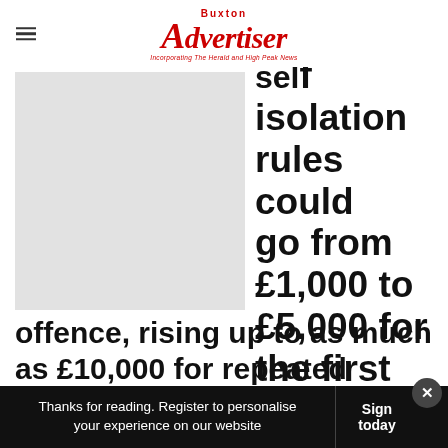Buxton Advertiser — Incorporating The Herald and High Peak News
[Figure (photo): Placeholder image, light grey background, square crop]
self isolation rules could go from £1,000 to £5,000 for the first offence, rising up to as much as £10,000 for repeated offences.
These                                                    ng an
[Figure (infographic): Advertisement banner: Save Up to 65% Leesburg Premium Outlets with logo icons]
Thanks for reading. Register to personalise your experience on our website   Sign today